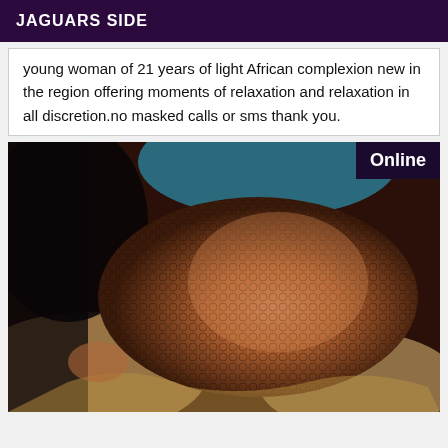JAGUARS SIDE
young woman of 21 years of light African complexion new in the region offering moments of relaxation and relaxation in all discretion.no masked calls or sms thank you.
[Figure (photo): Photo of a person wearing fishnet stockings lying on a patterned surface. An 'Online' badge appears in the top-right corner of the image.]